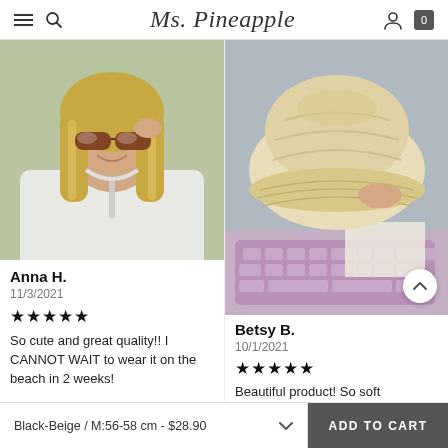Ms. Pineapple — navigation header with hamburger menu, search, user icon, and cart (0)
[Figure (photo): Young blonde woman wearing sunglasses and a white zip-up hoodie, taking a selfie]
Anna H.
11/3/2021
★★★★★
So cute and great quality!! I CANNOT WAIT to wear it on the beach in 2 weeks!
[Figure (photo): A cream-colored fuzzy sherpa bucket hat held in someone's hand, with a pink laptop keyboard visible in the background]
Betsy B.
10/1/2021
★★★★★
Beautiful product! So soft
Black-Beige / M:56-58 cm - $28.90  ADD TO CART